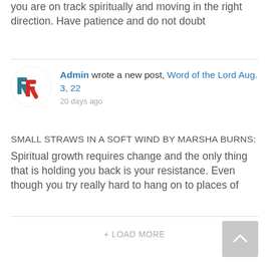you are on track spiritually and moving in the right direction. Have patience and do not doubt
Admin wrote a new post, Word of the Lord Aug. 3, 22
20 days ago
SMALL STRAWS IN A SOFT WIND BY MARSHA BURNS:
Spiritual growth requires change and the only thing that is holding you back is your resistance. Even though you try really hard to hang on to places of
+ LOAD MORE